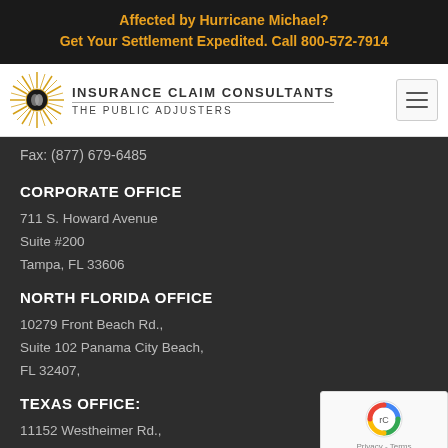Affected by Hurricane Michael?
Get Your Settlement Expedited. Call 800-572-7914
[Figure (logo): Insurance Claim Consultants - The Public Adjusters logo with sunburst and handshake icon]
Fax: (877) 679-6485
CORPORATE OFFICE
711 S. Howard Avenue
Suite #200
Tampa, FL 33606
NORTH FLORIDA OFFICE
10279 Front Beach Rd.,
Suite 102 Panama City Beach,
FL 32407,
TEXAS OFFICE:
11152 Westheimer Rd.,
#884 Houston, TX